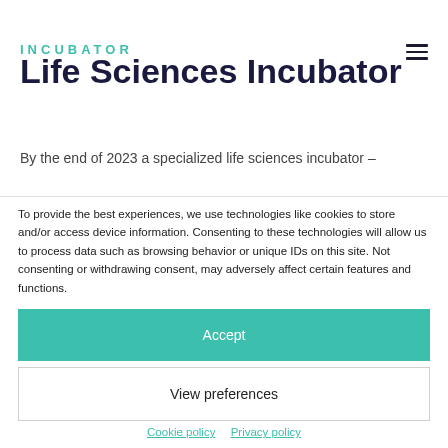INCUBATOR
Life Sciences Incubator
By the end of 2023 a specialized life sciences incubator –
To provide the best experiences, we use technologies like cookies to store and/or access device information. Consenting to these technologies will allow us to process data such as browsing behavior or unique IDs on this site. Not consenting or withdrawing consent, may adversely affect certain features and functions.
Accept
View preferences
Cookie policy   Privacy policy